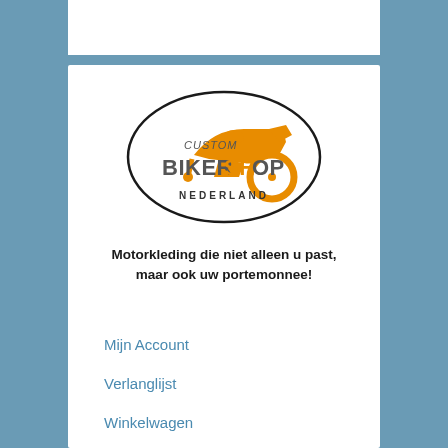[Figure (logo): Custom Bikershop Nederland logo — oval outline with orange motorcycle silhouette and text 'CUSTOM BIKERSHOP NEDERLAND']
Motorkleding die niet alleen u past, maar ook uw portemonnee!
Mijn Account
Verlanglijst
Winkelwagen